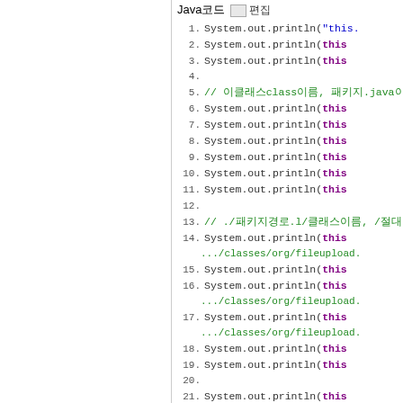Java코드 [편집]
1. System.out.println("this.
2. System.out.println(this
3. System.out.println(this
4.
5. // 이클래스class이름, 패키지.java이름,
6. System.out.println(this
7. System.out.println(this
8. System.out.println(this
9. System.out.println(this
10. System.out.println(this
11. System.out.println(this
12.
13. // ./패키지경로.l/클래스이름, /절대경로
14. System.out.println(this .../classes/org/fileupload.
15. System.out.println(this
16. System.out.println(this .../classes/org/fileupload.
17. System.out.println(this .../classes/org/fileupload.
18. System.out.println(this
19. System.out.println(this
20.
21. System.out.println(this